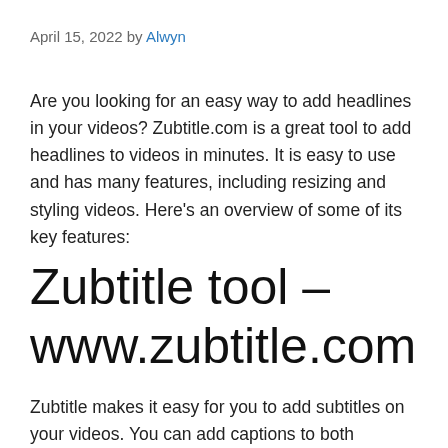April 15, 2022 by Alwyn
Are you looking for an easy way to add headlines in your videos? Zubtitle.com is a great tool to add headlines to videos in minutes. It is easy to use and has many features, including resizing and styling videos. Here’s an overview of some of its key features:
Zubtitle tool – www.zubtitle.com
Zubtitle makes it easy for you to add subtitles on your videos. You can add captions to both captioned and non-